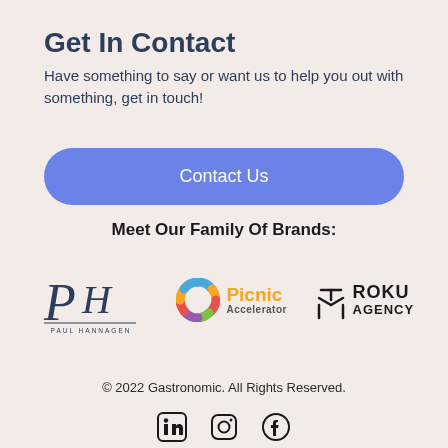Get In Contact
Have something to say or want us to help you out with something, get in touch!
Contact Us
Meet Our Family Of Brands:
[Figure (logo): PH Paul Hannagen logo in navy script]
[Figure (logo): Picnic Accelerator logo with colorful ring icon]
[Figure (logo): Roku Agency logo with Japanese character and bold text]
© 2022 Gastronomic. All Rights Reserved.
[Figure (infographic): LinkedIn, Instagram, and Facebook social media icons]